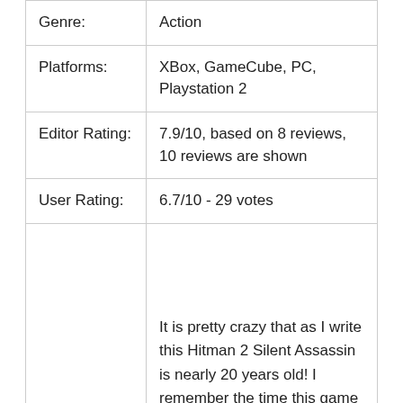| Field | Value |
| --- | --- |
| Genre: | Action |
| Platforms: | XBox, GameCube, PC, Playstation 2 |
| Editor Rating: | 7.9/10, based on 8 reviews, 10 reviews are shown |
| User Rating: | 6.7/10 - 29 votes |
|  | It is pretty crazy that as I write this Hitman 2 Silent Assassin is nearly 20 years old! I remember the time this game was released it was a |